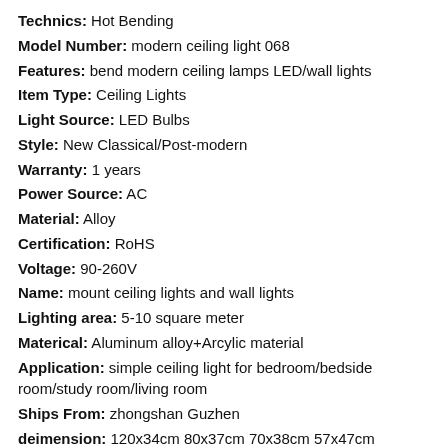Technics: Hot Bending
Model Number: modern ceiling light 068
Features: bend modern ceiling lamps LED/wall lights
Item Type: Ceiling Lights
Light Source: LED Bulbs
Style: New Classical/Post-modern
Warranty: 1 years
Power Source: AC
Material: Alloy
Certification: RoHS
Voltage: 90-260V
Name: mount ceiling lights and wall lights
Lighting area: 5-10 square meter
Materical: Aluminum alloy+Arcylic material
Application: simple ceiling light for bedroom/bedside room/study room/living room
Ships From: zhongshan Guzhen
deimension: 120x34cm 80x37cm 70x38cm 57x47cm 77x37cm